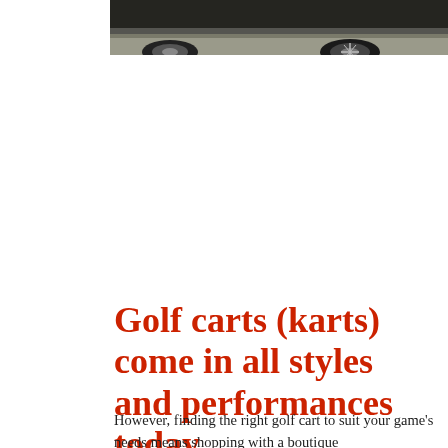[Figure (photo): Partial view of a dark-colored vehicle (likely a golf cart or truck), showing the lower body and wheel area against a light pavement background. The image is cropped and shows only the bottom portion of the vehicle.]
Golf carts (karts) come in all styles and performances today.
However, finding the right golf cart to suit your game's needs means shopping with a boutique